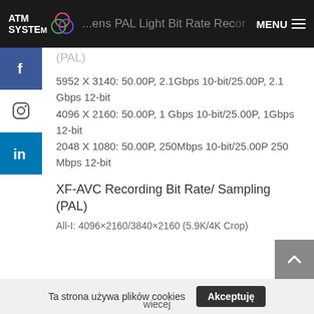ATM SYSTEM — ...ens PAL Light Bit Rate Recorder (PAL)
5952 X 3140: 50.00P, 2.1Gbps 10-bit/25.00P, 2.1 Gbps 12-bit
4096 X 2160: 50.00P, 1 Gbps 10-bit/25.00P, 1Gbps 12-bit
2048 X 1080: 50.00P, 250Mbps 10-bit/25.00P 250 Mbps 12-bit
XF-AVC Recording Bit Rate/ Sampling (PAL)
All-I: 4096×2160/3840×2160 (5.9K/4K Crop)
Ta strona używa plików cookies  Akceptuję  wiecej